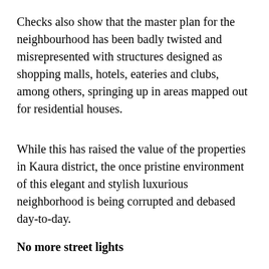Checks also show that the master plan for the neighbourhood has been badly twisted and misrepresented with structures designed as shopping malls, hotels, eateries and clubs, among others, springing up in areas mapped out for residential houses.
While this has raised the value of the properties in Kaura district, the once pristine environment of this elegant and stylish luxurious neighborhood is being corrupted and debased day-to-day.
No more street lights